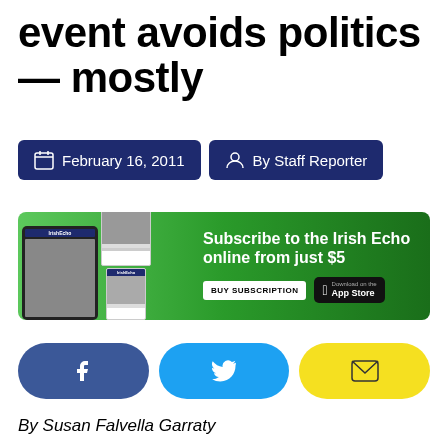event avoids politics — mostly
February 16, 2011
By Staff Reporter
[Figure (infographic): Subscribe to the Irish Echo online from just $5 banner advertisement with magazine images on the left, BUY SUBSCRIPTION button and App Store download button on the right.]
[Figure (infographic): Social sharing buttons: Facebook (dark blue), Twitter (light blue), Email (yellow)]
By Susan Falvella Garraty